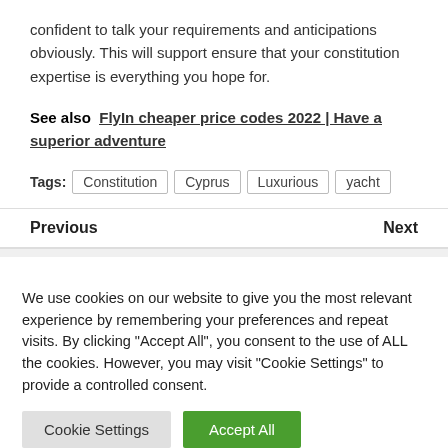confident to talk your requirements and anticipations obviously. This will support ensure that your constitution expertise is everything you hope for.
See also  FlyIn cheaper price codes 2022 | Have a superior adventure
Tags:  Constitution  Cyprus  Luxurious  yacht
Previous  Next
We use cookies on our website to give you the most relevant experience by remembering your preferences and repeat visits. By clicking "Accept All", you consent to the use of ALL the cookies. However, you may visit "Cookie Settings" to provide a controlled consent.
Cookie Settings  Accept All